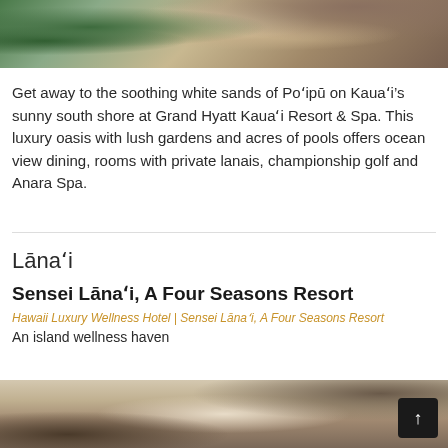[Figure (photo): Spa or resort area with tropical greenery, stones, a rolled towel, and wooden elements]
Get away to the soothing white sands of Poʻipū on Kauaʻi’s sunny south shore at Grand Hyatt Kauaʻi Resort & Spa. This luxury oasis with lush gardens and acres of pools offers ocean view dining, rooms with private lanais, championship golf and Anara Spa.
Lānaʻi
Sensei Lānaʻi, A Four Seasons Resort
Hawaii Luxury Wellness Hotel | Sensei Lānaʻi, A Four Seasons Resort
An island wellness haven
[Figure (photo): Interior of a luxury resort room or lobby with wooden frames, windows, and pendant lighting]